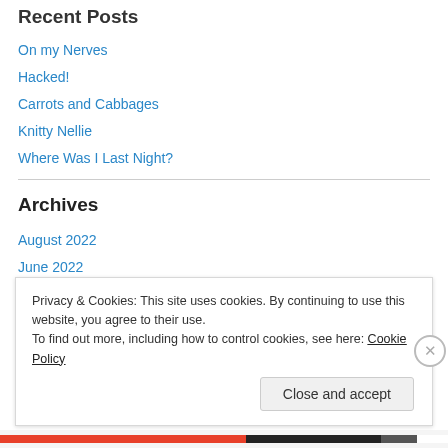Recent Posts
On my Nerves
Hacked!
Carrots and Cabbages
Knitty Nellie
Where Was I Last Night?
Archives
August 2022
June 2022
February 2022
November 2021
Privacy & Cookies: This site uses cookies. By continuing to use this website, you agree to their use.
To find out more, including how to control cookies, see here: Cookie Policy
Close and accept